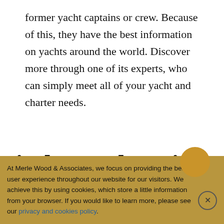former yacht captains or crew. Because of this, they have the best information on yachts around the world. Discover more through one of its experts, who can simply meet all of your yacht and charter needs.
Find A Yacht With A Yacht
At Merle Wood & Associates, we focus on providing the best user experience throughout our website for our visitors. We achieve this by using cookies, which store a little information from your browser. If you would like to learn more, please see our privacy and cookies policy.